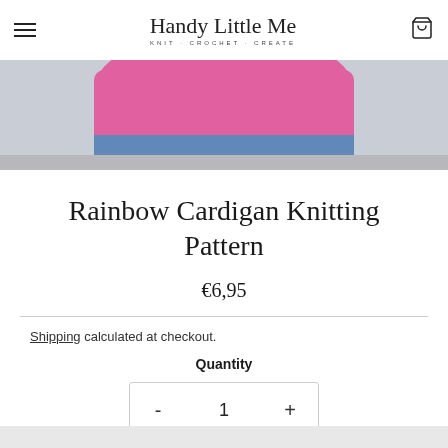Handy Little Me — KNIT · CROCHET · CREATE
[Figure (photo): Close-up of a pink knitted cardigan with blue denim visible below, on a light background]
Rainbow Cardigan Knitting Pattern
€6,95
Shipping calculated at checkout.
Quantity
- 1 +